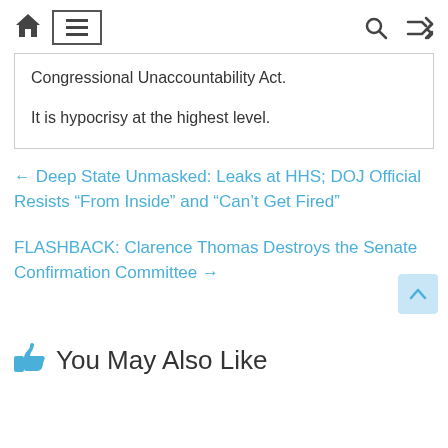Home | Menu | Search | Shuffle
Congressional Unaccountability Act.
It is hypocrisy at the highest level.
← Deep State Unmasked: Leaks at HHS; DOJ Official Resists “From Inside” and “Can’t Get Fired”
FLASHBACK: Clarence Thomas Destroys the Senate Confirmation Committee →
You May Also Like